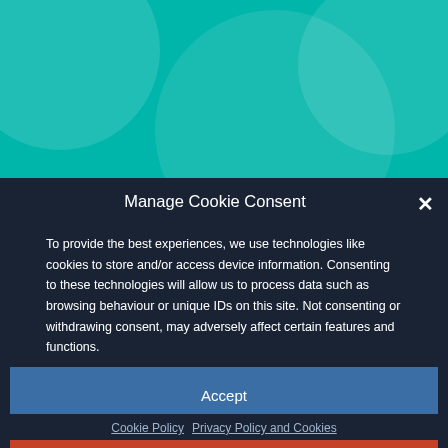[Figure (screenshot): Teal/turquoise background banner with overlapping semi-transparent white circles]
Manage Cookie Consent
To provide the best experiences, we use technologies like cookies to store and/or access device information. Consenting to these technologies will allow us to process data such as browsing behaviour or unique IDs on this site. Not consenting or withdrawing consent, may adversely affect certain features and functions.
Accept
Deny
View preferences
Cookie Policy  Privacy Policy and Cookies